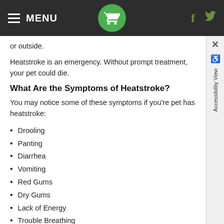MENU
or outside.
Heatstroke is an emergency. Without prompt treatment, your pet could die.
What Are the Symptoms of Heatstroke?
You may notice some of these symptoms if you're pet has heatstroke:
Drooling
Panting
Diarrhea
Vomiting
Red Gums
Dry Gums
Lack of Energy
Trouble Breathing
Falling Down or Stumbling
Seizures
Collapse